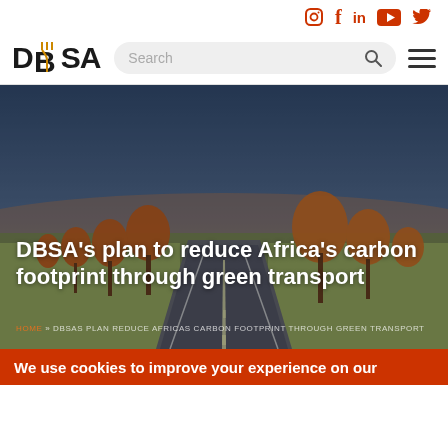Social media icons: Instagram, Facebook, LinkedIn, YouTube, Twitter
[Figure (logo): DBSA logo with stylized fork/branch icon in orange/gold, followed by search bar and hamburger menu]
[Figure (photo): Road stretching into the distance lined with autumn trees, with fields visible on either side, taken at dusk/dawn with warm sky tones]
DBSA's plan to reduce Africa's carbon footprint through green transport
HOME » DBSAS PLAN REDUCE AFRICAS CARBON FOOTPRINT THROUGH GREEN TRANSPORT
We use cookies to improve your experience on our